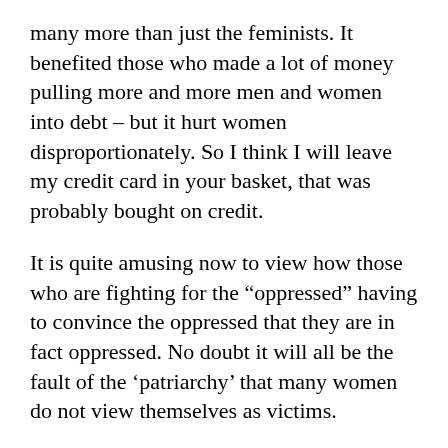many more than just the feminists. It benefited those who made a lot of money pulling more and more men and women into debt – but it hurt women disproportionately. So I think I will leave my credit card in your basket, that was probably bought on credit.
It is quite amusing now to view how those who are fighting for the “oppressed” having to convince the oppressed that they are in fact oppressed. No doubt it will all be the fault of the ‘patriarchy’ that many women do not view themselves as victims.
Feminists, who normally are such advocates of “agency” like to strip women of that very same agency when it suits them. You do not think you are victim? You have just been absorbing sexist norms. You do not feel oppressed? The patriarchy have brainwashed you into thinking